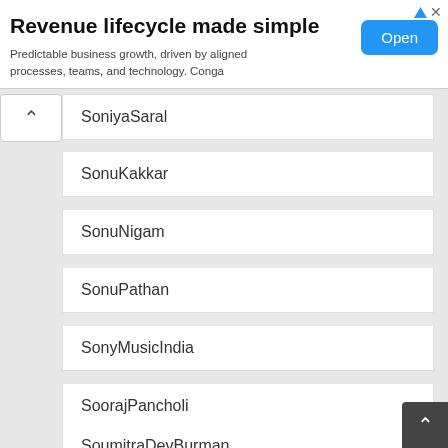[Figure (screenshot): Advertisement banner: 'Revenue lifecycle made simple' with text 'Predictable business growth, driven by aligned processes, teams, and technology. Conga' and a blue 'Open' button]
SoniyaSaral
SonuKakkar
SonuNigam
SonuPathan
SonyMusicIndia
SoorajPancholi
SoumitraDevBurman
S... (partially visible)